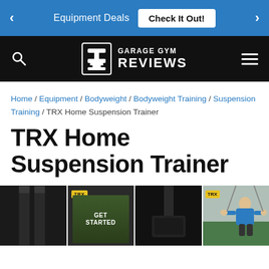Equipment Deals  Check It Out!
[Figure (logo): Garage Gym Reviews logo with barbell/dumbbell icon on black navigation bar]
Home / Equipment / Bodyweight / Bodyweight Training / Suspension Training / TRX Home Suspension Trainer
TRX Home Suspension Trainer
[Figure (photo): Product images of TRX Home Suspension Trainer showing straps, packaging with GET STARTED text, handle close-up, and in-use photo of person exercising]